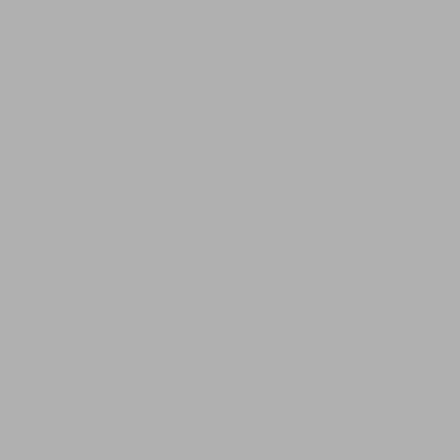###  Workflow
<img src="../../images/workflow.png" alt="the four
- A succession of tools to perform a complete anal
---
###  Workflow
- In galaxy
<img src="../../images/galaxyWorkflowEx.png" alt='
---
###  Workflow
<img src="../../images/shareWorkflow.png" alt="ext
- You get a file: Galaxy-Workflow-NAME.ga
---